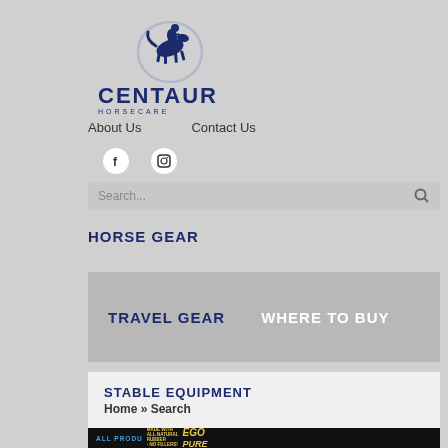[Figure (logo): Centaur Horsecare logo with horse and rider icon above the text CENTAUR HORSECARE]
About Us    Contact Us
[Figure (other): Social media icons: Facebook and Instagram circular buttons]
Search...
HORSE GEAR
TRAVEL GEAR    WHERE TO BUY
STABLE EQUIPMENT
Home » Search
[Figure (other): Bottom banner: ALL PRODUCTS text visible, MADE WITH ALL-NATURAL RUBBER - NO FILLERS! and ECO PURE logo on dark background]